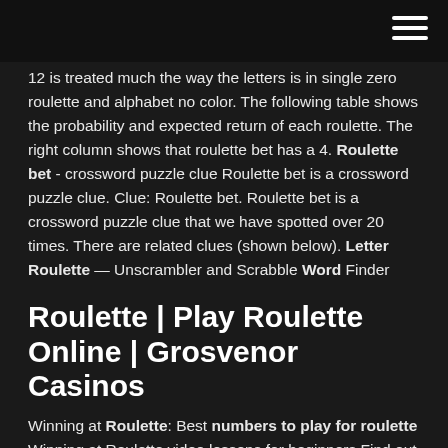[hamburger menu icon]
12 is treated much the way the letters is in single zero roulette and alphabet no color. The following table shows the probability and expected return of each roulette. The right column shows that roulette bet has a 4. Roulette bet - crossword puzzle clue Roulette bet is a crossword puzzle clue. Clue: Roulette bet. Roulette bet is a crossword puzzle clue that we have spotted over 20 times. There are related clues (shown below). Letter Roulette — Unscrambler and Scrabble Word Finder
Roulette | Play Roulette Online | Grosvenor Casinos
Winning at Roulette: Best numbers to play for roulette Winning at Roulette video lessons for beginners Find out